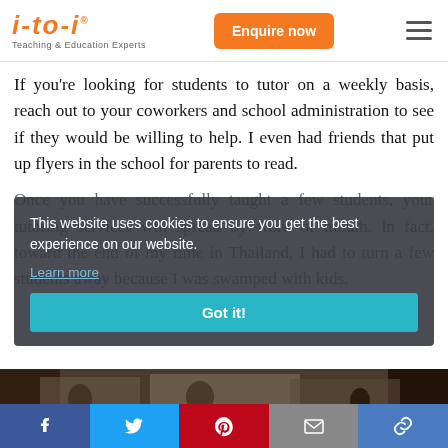[Figure (logo): i-to-i Teaching & Education Experts logo in orange italic text with Enquire now button and hamburger menu]
If you're looking for students to tutor on a weekly basis, reach out to your coworkers and school administration to see if they would be willing to help. I even had friends that put up flyers in the school for parents to read.
Once you have successfully taught a few students, your tutoring services will spread by word of mouth. In fact, toward the end of my time in Thailand, I had to turn a few students away because I was swamped with kids.
This website uses cookies to ensure you get the best experience on our website.
Learn more
Got it!
[Figure (photo): Bottom image strip showing people in a classroom setting]
[Figure (infographic): Social share bar with Facebook, Twitter, Pinterest, Email, and Link buttons]